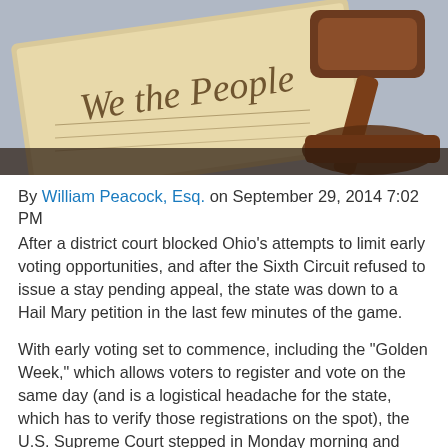[Figure (photo): Photo of the US Constitution 'We the People' document alongside a wooden judge's gavel on a dark surface.]
By William Peacock, Esq. on September 29, 2014 7:02 PM
After a district court blocked Ohio's attempts to limit early voting opportunities, and after the Sixth Circuit refused to issue a stay pending appeal, the state was down to a Hail Mary petition in the last few minutes of the game.
With early voting set to commence, including the "Golden Week," which allows voters to register and vote on the same day (and is a logistical headache for the state, which has to verify those registrations on the spot), the U.S. Supreme Court stepped in Monday morning and voted 5-4 to issue a stay in the case, all but guaranteeing that the state will get its way this election, and early voting opportunities will be